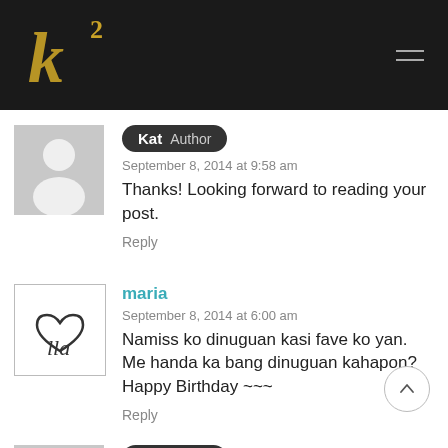K2 blog logo and navigation
Kat Author
September 8, 2014 at 9:58 am
Thanks! Looking forward to reading your post.
Reply
maria
September 8, 2014 at 6:00 am
Namiss ko dinuguan kasi fave ko yan. Me handa ka bang dinuguan kahapon? Happy Birthday ~~~
Reply
Kat Author
September 8, 2014 at 9:58 am